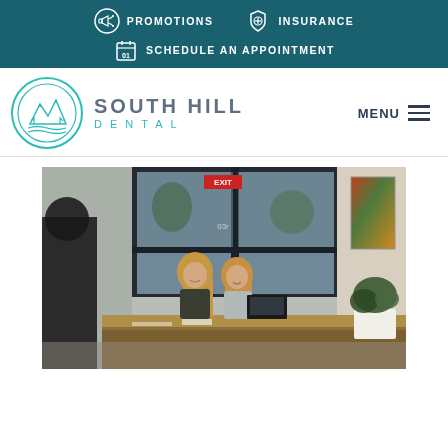PROMOTIONS  INSURANCE  SCHEDULE AN APPOINTMENT
[Figure (logo): South Hill Dental logo with mountain/landscape circular emblem, text SOUTH HILL DENTAL]
MENU
[Figure (photo): Reception area of South Hill Dental office. Two smiling women with long blonde hair entering through glass double doors. A reception desk is in the foreground with a staff member visible. Colorful artwork on the right wall. Plants and natural light visible.]